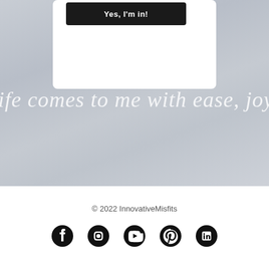[Figure (screenshot): Marble grey background with partial white card and black button reading 'Yes, I'm in!' and white cursive script overlay reading 'life comes to me with ease, joy &']
Yes, I'm in!
life comes to me with ease, joy &
© 2022 InnovativeMisfits
[Figure (illustration): Social media icons row: Facebook, Instagram, YouTube, Pinterest, LinkedIn]